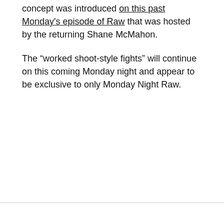concept was introduced on this past Monday's episode of Raw that was hosted by the returning Shane McMahon.
The “worked shoot-style fights” will continue on this coming Monday night and appear to be exclusive to only Monday Night Raw.